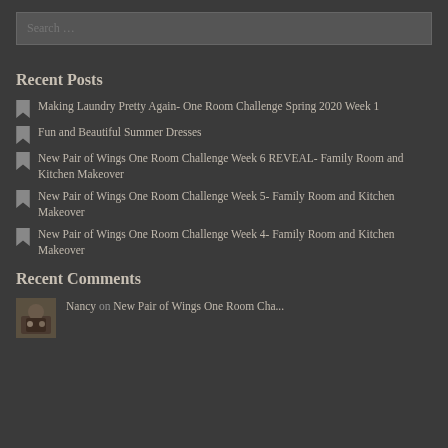Search ...
Recent Posts
Making Laundry Pretty Again- One Room Challenge Spring 2020 Week 1
Fun and Beautiful Summer Dresses
New Pair of Wings One Room Challenge Week 6 REVEAL- Family Room and Kitchen Makeover
New Pair of Wings One Room Challenge Week 5- Family Room and Kitchen Makeover
New Pair of Wings One Room Challenge Week 4- Family Room and Kitchen Makeover
Recent Comments
Nancy on New Pair of Wings One Room Cha...